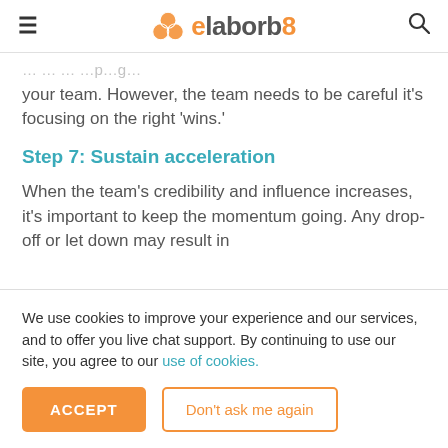elabor8
your team. However, the team needs to be careful it's focusing on the right 'wins.'
Step 7: Sustain acceleration
When the team's credibility and influence increases, it's important to keep the momentum going. Any drop-off or let down may result in
We use cookies to improve your experience and our services, and to offer you live chat support. By continuing to use our site, you agree to our use of cookies.